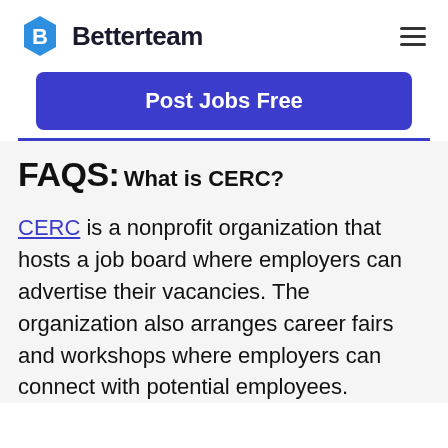Betterteam
Post Jobs Free
FAQS:
What is CERC?
CERC is a nonprofit organization that hosts a job board where employers can advertise their vacancies. The organization also arranges career fairs and workshops where employers can connect with potential employees.